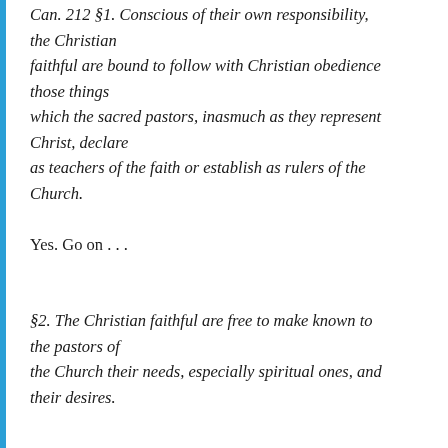Can. 212 §1. Conscious of their own responsibility, the Christian faithful are bound to follow with Christian obedience those things which the sacred pastors, inasmuch as they represent Christ, declare as teachers of the faith or establish as rulers of the Church.
Yes. Go on . . .
§2. The Christian faithful are free to make known to the pastors of the Church their needs, especially spiritual ones, and their desires.